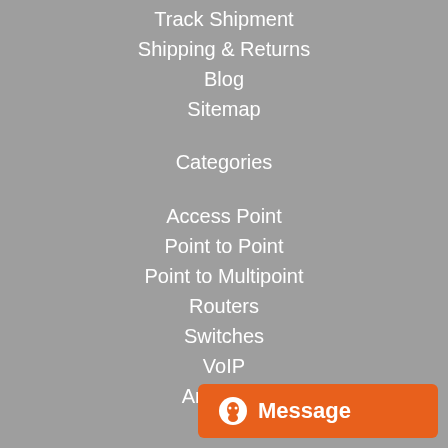Track Shipment
Shipping & Returns
Blog
Sitemap
Categories
Access Point
Point to Point
Point to Multipoint
Routers
Switches
VoIP
Antennas
Solar
Fiber Optics
[Figure (other): Orange Message button with alien/chat icon in bottom right corner]